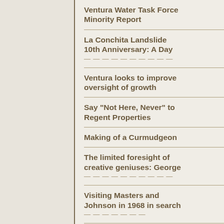Ventura Water Task Force Minority Report
La Conchita Landslide 10th Anniversary: A Day of Remembrance and...
Ventura looks to improve oversight of growth
Say "Not Here, Never" to Regent Properties
Making of a Curmudgeon
The limited foresight of creative geniuses: George Lucas, J.K. Rowling and...
Visiting Masters and Johnson in 1968 in search of...
Channel Islands Ecocide: T.C. Boyle's When the Killing's Done